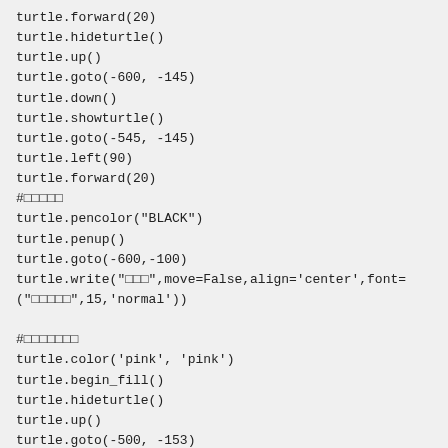turtle.forward(20)
turtle.hideturtle()
turtle.up()
turtle.goto(-600, -145)
turtle.down()
turtle.showturtle()
turtle.goto(-545, -145)
turtle.left(90)
turtle.forward(20)
#□□□□□
turtle.pencolor("BLACK")
turtle.penup()
turtle.goto(-600,-100)
turtle.write("□□□",move=False,align='center',font=
("□□□□□",15,'normal'))

#□□□□□□□
turtle.color('pink', 'pink')
turtle.begin_fill()
turtle.hideturtle()
turtle.up()
turtle.goto(-500, -153)
turtle.down()
turtle.showturtle()
turtle.right(90)